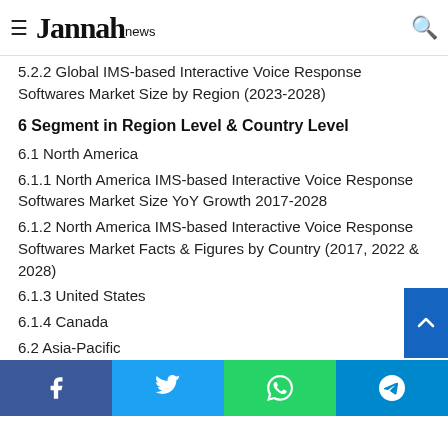Jannah news
5.2.2 Global IMS-based Interactive Voice Response Softwares Market Size by Region (2023-2028)
6 Segment in Region Level & Country Level
6.1 North America
6.1.1 North America IMS-based Interactive Voice Response Softwares Market Size YoY Growth 2017-2028
6.1.2 North America IMS-based Interactive Voice Response Softwares Market Facts & Figures by Country (2017, 2022 & 2028)
6.1.3 United States
6.1.4 Canada
6.2 Asia-Pacific
6.2.1 Asia-Pacific IMS-based Interactive Voice Response